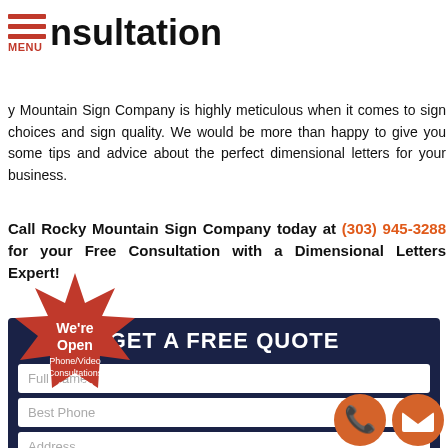consultation
Rocky Mountain Sign Company is highly meticulous when it comes to sign choices and sign quality. We would be more than happy to give you some tips and advice about the perfect dimensional letters for your business.
Call Rocky Mountain Sign Company today at (303) 945-3288 for your Free Consultation with a Dimensional Letters Expert!
GET A FREE QUOTE
Full Name
Best Phone
Address
What kind and size of signage do you need?
[Figure (infographic): Red starburst badge with text: We're Open Phone/Video Consultations Available]
[Figure (infographic): Orange phone icon and orange envelope/mail icon in bottom right corner]